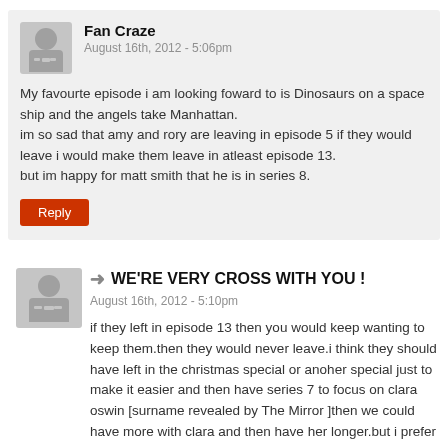Fan Craze
August 16th, 2012 - 5:06pm
My favourite episode i am looking foward to is Dinosaurs on a space ship and the angels take Manhattan.
im so sad that amy and rory are leaving in episode 5 if they would leave i would make them leave in atleast episode 13.
but im happy for matt smith that he is in series 8.
Reply
WE'RE VERY CROSS WITH YOU !
August 16th, 2012 - 5:10pm
if they left in episode 13 then you would keep wanting to keep them.then they would never leave.i think they should have left in the christmas special or anoher special just to make it easier and then have series 7 to focus on clara oswin [surname revealed by The Mirror ]then we could have more with clara and then have her longer.but i prefer amy and rory leaving midway as well.but i hope it is good because sometimes the titles are better than the episode. and episode 5 title is good but i hope the episode will be better than the